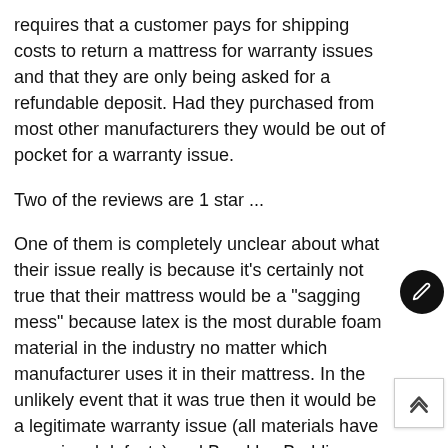requires that a customer pays for shipping costs to return a mattress for warranty issues and that they are only being asked for a refundable deposit. Had they purchased from most other manufacturers they would be out of pocket for a warranty issue.
Two of the reviews are 1 star ...
One of them is completely unclear about what their issue really is because it's certainly not true that their mattress would be a "sagging mess" because latex is the most durable foam material in the industry no matter which manufacturer uses it in their mattress. In the unlikely event that it was true then it would be a legitimate warranty issue (all materials have occasional defects) and Brooklyn Bedding would replace it. It is much more likely that it is some type of comfort issue that they are misrepresenting as a quality issue either because they don't know any better or because they actually have the intent to do so. They are also complaining